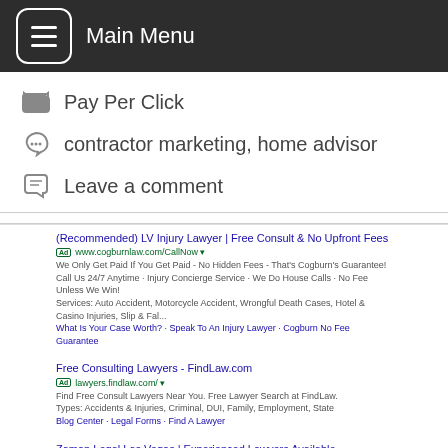Main Menu
Pay Per Click
contractor marketing, home advisor
Leave a comment
[Figure (screenshot): Google search results screenshot showing three paid ads for lawyers in Las Vegas: (Recommended) LV Injury Lawyer | Free Consult & No Upfront Fees (cogburnlaw.com), Free Consulting Lawyers - FindLaw.com (lawyers.findlaw.com), Zaman Legal Las Vegas | Experienced Lawyers Available (zamanlegal.com), followed by a Google Map showing local lawyer listings.]